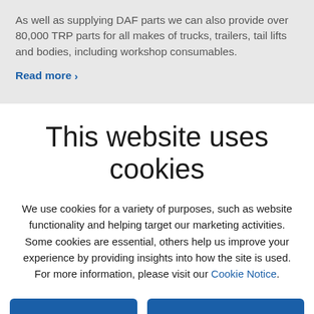As well as supplying DAF parts we can also provide over 80,000 TRP parts for all makes of trucks, trailers, tail lifts and bodies, including workshop consumables.
Read more >
This website uses cookies
We use cookies for a variety of purposes, such as website functionality and helping target our marketing activities. Some cookies are essential, others help us improve your experience by providing insights into how the site is used. For more information, please visit our Cookie Notice.
Accept all
Change settings